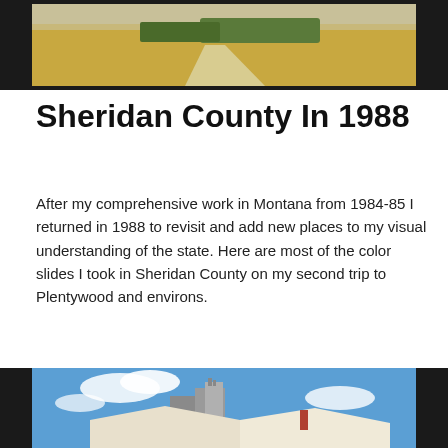[Figure (photo): Top portion of a photograph showing a rural Montana landscape with a dirt road, golden/dry grass fields, and trees in the background, framed with a dark border suggesting a slide or film frame.]
Sheridan County In 1988
After my comprehensive work in Montana from 1984-85 I returned in 1988 to revisit and add new places to my visual understanding of the state. Here are most of the color slides I took in Sheridan County on my second trip to Plentywood and environs.
[Figure (photo): Bottom portion of a photograph showing grain elevators and a building rooftop against a blue sky with white clouds, framed with a dark border suggesting a slide or film frame. Located in Sheridan County, Montana.]